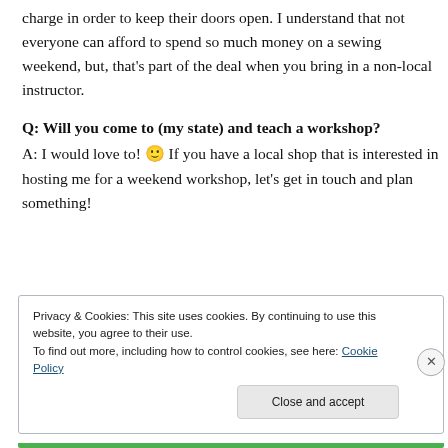charge in order to keep their doors open. I understand that not everyone can afford to spend so much money on a sewing weekend, but, that's part of the deal when you bring in a non-local instructor.
Q: Will you come to (my state) and teach a workshop?
A: I would love to! 🙂 If you have a local shop that is interested in hosting me for a weekend workshop, let's get in touch and plan something!
Privacy & Cookies: This site uses cookies. By continuing to use this website, you agree to their use. To find out more, including how to control cookies, see here: Cookie Policy